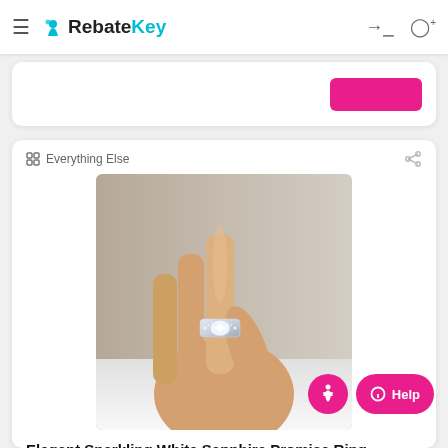RebateKey
Everything Else
[Figure (photo): A hand wearing an elegant sparkling white sapphire promise ring, showing the ring on the ring finger, with a white sleeve visible at the bottom.]
Elegant Sparkling White Sapphire Promise Ring